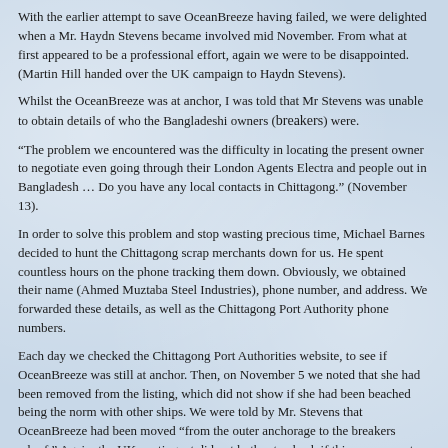With the earlier attempt to save OceanBreeze having failed, we were delighted when a Mr. Haydn Stevens became involved mid November. From what at first appeared to be a professional effort, again we were to be disappointed. (Martin Hill handed over the UK campaign to Haydn Stevens).
Whilst the OceanBreeze was at anchor, I was told that Mr Stevens was unable to obtain details of who the Bangladeshi owners (breakers) were.
“The problem we encountered was the difficulty in locating the present owner to negotiate even going through their London Agents Electra and people out in Bangladesh … Do you have any local contacts in Chittagong.” (November 13).
In order to solve this problem and stop wasting precious time, Michael Barnes decided to hunt the Chittagong scrap merchants down for us. He spent countless hours on the phone tracking them down. Obviously, we obtained their name (Ahmed Muztaba Steel Industries), phone number, and address. We forwarded these details, as well as the Chittagong Port Authority phone numbers.
Each day we checked the Chittagong Port Authorities website, to see if OceanBreeze was still at anchor. Then, on November 5 we noted that she had been removed from the listing, which did not show if she had been beached being the norm with other ships. We were told by Mr. Stevens that OceanBreeze had been moved “from the outer anchorage to the breakers wharf.” Again, the UK contingent did not bother to check if this was correct, thus once again we phoned Chittagong direct and discovered: a. The Chittagong breakers do not have wharves and b. OceanBreeze had in fact been partially beached on November 5. It became obvious to us that even though the intentions of those in the UK to save the ship was